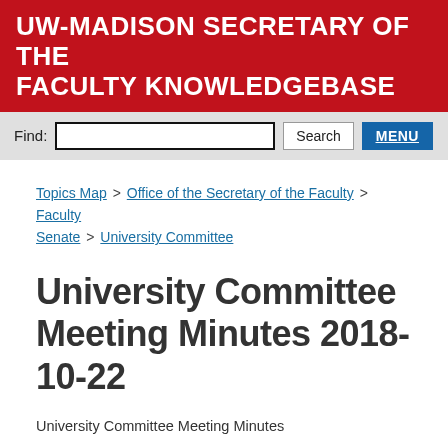UW-MADISON SECRETARY OF THE FACULTY KNOWLEDGEBASE
Find: [search input] Search MENU
Topics Map > Office of the Secretary of the Faculty > Faculty Senate > University Committee
University Committee Meeting Minutes 2018-10-22
University Committee Meeting Minutes
Minutes approved 10/29/2018
UC members present: Amasino (chair) (arr. 1:15), Campagnola,